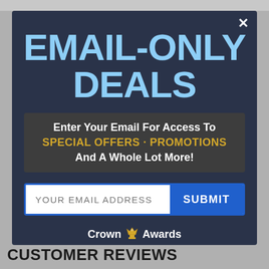[Figure (screenshot): Email signup modal popup with dark blue background. Contains large light blue text 'EMAIL-ONLY DEALS', a dark box with offer text, an email input field with blue Submit button, and Crown Awards logo.]
EMAIL-ONLY DEALS
Enter Your Email For Access To SPECIAL OFFERS · PROMOTIONS And A Whole Lot More!
YOUR EMAIL ADDRESS
SUBMIT
Crown Awards
CUSTOMER REVIEWS